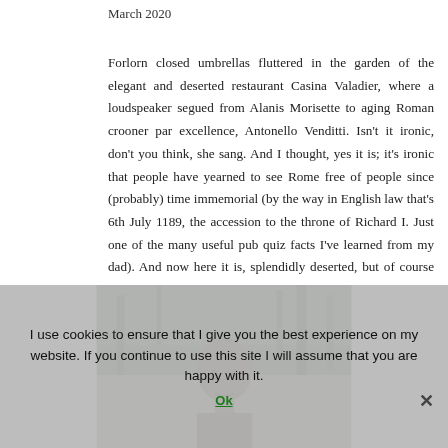March 2020
Forlorn closed umbrellas fluttered in the garden of the elegant and deserted restaurant Casina Valadier, where a loudspeaker segued from Alanis Morisette to aging Roman crooner par excellence, Antonello Venditti. Isn't it ironic, don't you think, she sang. And I thought, yes it is; it's ironic that people have yearned to see Rome free of people since (probably) time immemorial (by the way in English law that's 6th July 1189, the accession to the throne of Richard I. Just one of the many useful pub quiz facts I've learned from my dad). And now here it is, splendidly deserted, but of course that means there's no one at all to enjoy it.
[Figure (photo): A stone or bronze bust/statue of a figure, photographed outdoors with trees in the background. The image is partially obscured by a cookie consent banner overlay.]
I use cookies to ensure that I give you the best experience on my website. If you continue to use this site I will assume that you are happy with it.